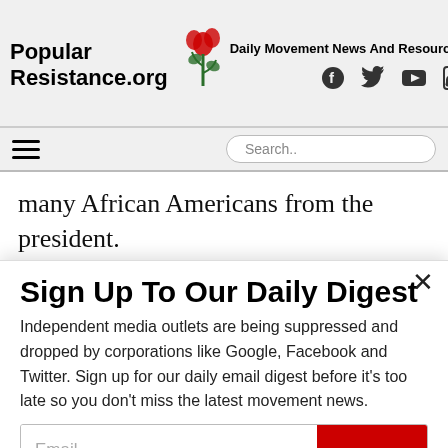Popular Resistance.org — Daily Movement News And Resources
many African Americans from the president.
Detroit has a long and troubled history of police
Sign Up To Our Daily Digest
Independent media outlets are being suppressed and dropped by corporations like Google, Facebook and Twitter. Sign up for our daily email digest before it's too late so you don't miss the latest movement news.